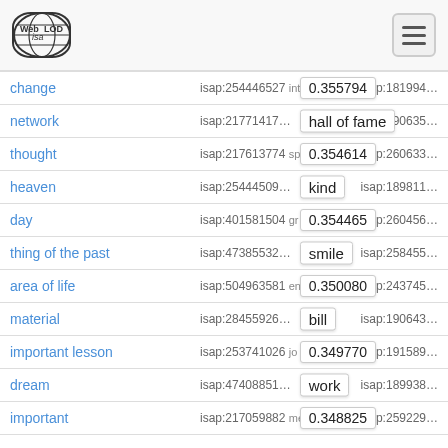Web isa LOD logo and navigation
| term | isap1 | score | isap2 |
| --- | --- | --- | --- |
| change | isap:254446527 | int / 0.355794 | isap:181994... |
| network | isap:21771417... | hall of fame | isap:190635... |
| thought | isap:217613774 | sp / 0.354614 | isap:260633... |
| heaven | isap:25444509... | kind | isap:189811... |
| day | isap:401581504 | gr / 0.354465 | isap:260456... |
| thing of the past | isap:47385532... | smile | isap:258455... |
| area of life | isap:504963581 | en / 0.350080 | isap:243745... |
| material | isap:28455926... | bill | isap:190643... |
| important lesson | isap:253741026 | jo / 0.349770 | isap:191589... |
| dream | isap:47408851... | work | isap:189938... |
| important | isap:217059882 | me / 0.348825 | isap:259229... |